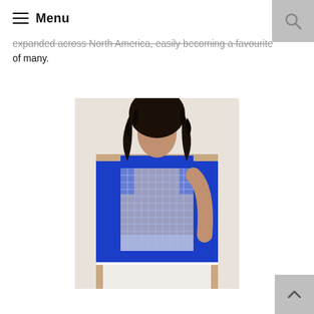Menu
expanded across North America, easily becoming a favourite of many.
[Figure (photo): A woman with curly dark hair wearing a royal blue sleeveless knit top with a white mesh panel in the front, paired with white trousers. She is posed with one hand on her hip against a light background.]